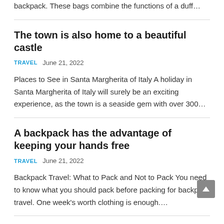backpack. These bags combine the functions of a duff…
The town is also home to a beautiful castle
TRAVEL   June 21, 2022
Places to See in Santa Margherita of Italy A holiday in Santa Margherita of Italy will surely be an exciting experience, as the town is a seaside gem with over 300…
A backpack has the advantage of keeping your hands free
TRAVEL   June 21, 2022
Backpack Travel: What to Pack and Not to Pack You need to know what you should pack before packing for backpack travel. One week's worth clothing is enough….
Venice is a great place to spend a romantic